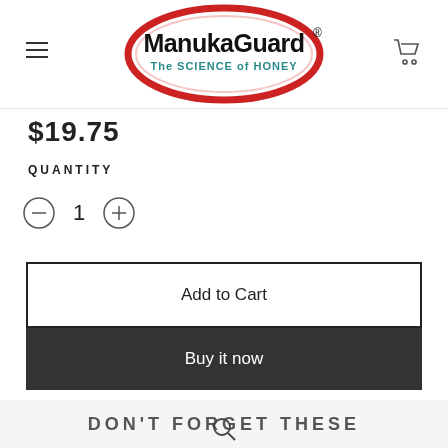[Figure (logo): ManukaGuard logo - red oval/ellipse border with black bold text 'ManukaGuard' and registered trademark symbol, teal text below reading 'The SCIENCE of HONEY']
$19.75
QUANTITY
1
Add to Cart
Buy it now
DON'T FORGET THESE